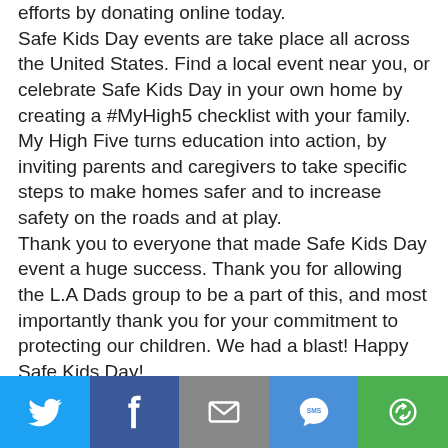efforts by donating online today. Safe Kids Day events are take place all across the United States. Find a local event near you, or celebrate Safe Kids Day in your own home by creating a #MyHigh5 checklist with your family. My High Five turns education into action, by inviting parents and caregivers to take specific steps to make homes safer and to increase safety on the roads and at play. Thank you to everyone that made Safe Kids Day event a huge success. Thank you for allowing the L.A Dads group to be a part of this, and most importantly thank you for your commitment to protecting our children. We had a blast! Happy Safe Kids Day!
[Figure (infographic): Social share bar with five buttons: Twitter (blue bird icon), Facebook (dark blue f icon), Email (grey envelope icon), SMS (blue speech bubble with SMS text), and a green share/rotate icon]